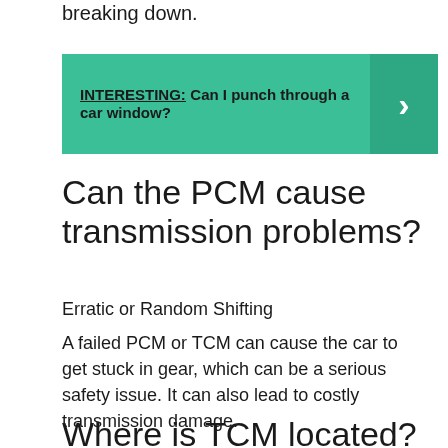breaking down.
[Figure (infographic): Teal/green banner with bold text: INTERESTING: Can I punch through a car window? with a right-pointing chevron arrow on the right side in a darker teal box.]
Can the PCM cause transmission problems?
Erratic or Random Shifting
A failed PCM or TCM can cause the car to get stuck in gear, which can be a serious safety issue. It can also lead to costly transmission damage.
Where is TCM located?